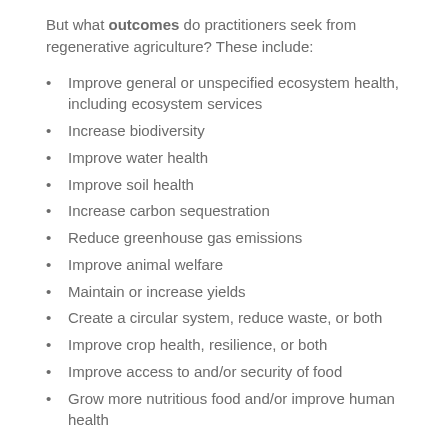But what outcomes do practitioners seek from regenerative agriculture? These include:
Improve general or unspecified ecosystem health, including ecosystem services
Increase biodiversity
Improve water health
Improve soil health
Increase carbon sequestration
Reduce greenhouse gas emissions
Improve animal welfare
Maintain or increase yields
Create a circular system, reduce waste, or both
Improve crop health, resilience, or both
Improve access to and/or security of food
Grow more nutritious food and/or improve human health